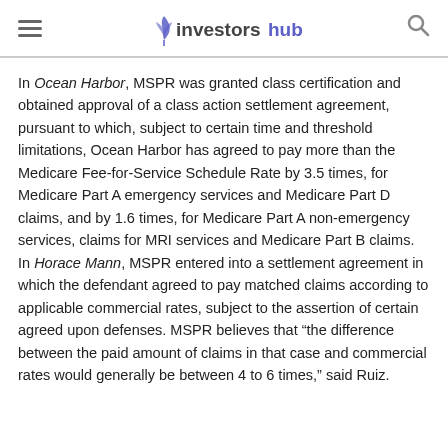investorshub
In Ocean Harbor, MSPR was granted class certification and obtained approval of a class action settlement agreement, pursuant to which, subject to certain time and threshold limitations, Ocean Harbor has agreed to pay more than the Medicare Fee-for-Service Schedule Rate by 3.5 times, for Medicare Part A emergency services and Medicare Part D claims, and by 1.6 times, for Medicare Part A non-emergency services, claims for MRI services and Medicare Part B claims. In Horace Mann, MSPR entered into a settlement agreement in which the defendant agreed to pay matched claims according to applicable commercial rates, subject to the assertion of certain agreed upon defenses. MSPR believes that “the difference between the paid amount of claims in that case and commercial rates would generally be between 4 to 6 times,” said Ruiz.